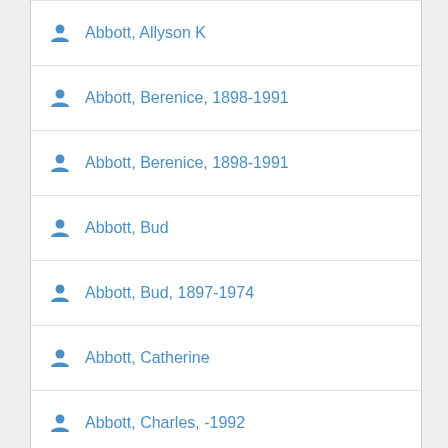Abbott, Allyson K
Abbott, Berenice, 1898-1991
Abbott, Berenice, 1898-1991
Abbott, Bud
Abbott, Bud, 1897-1974
Abbott, Catherine
Abbott, Charles, -1992
Abbott, Christmas
Abbott, Christopher, 1986-
Abbott, David, 1960-
Abbott, Edwin Abbott, 1838-1926